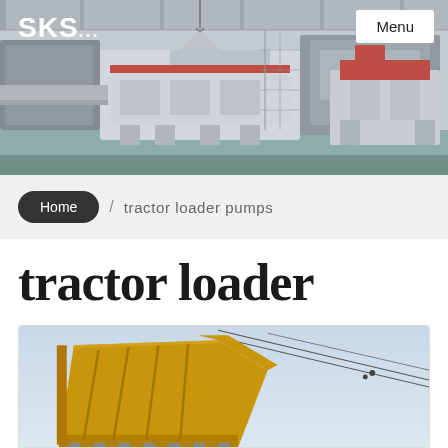[Figure (photo): Factory floor showing large industrial crushing/processing machines (white/grey equipment) in a warehouse setting with blue-green floor]
SKS...
Menu
Home / tractor loader pumps
tractor loader pumps
[Figure (photo): Yellow/gold tractor loader bucket arm against a light blue sky with utility wires visible]